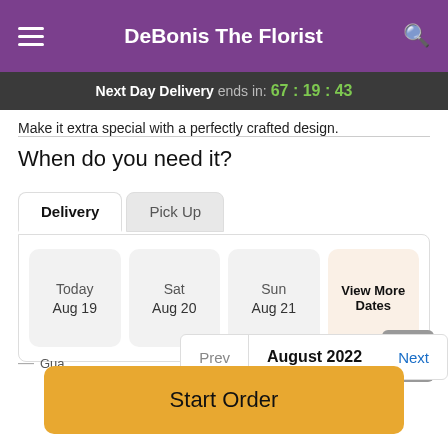DeBonis The Florist
Next Day Delivery ends in: 67:19:43
Make it extra special with a perfectly crafted design.
When do you need it?
Delivery | Pick Up
Today Aug 19 | Sat Aug 20 | Sun Aug 21 | View More Dates
— Gua  Prev  August 2022  Next
Start Order